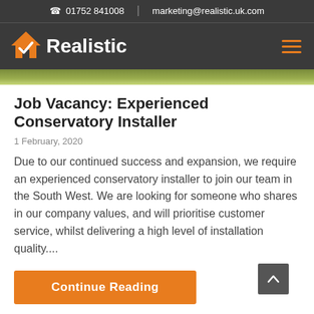01752 841008 | marketing@realistic.uk.com
[Figure (logo): Realistic company logo with orange house/checkmark icon and white bold text 'Realistic' on dark background]
[Figure (photo): Partial outdoor/garden hero image strip]
Job Vacancy: Experienced Conservatory Installer
1 February, 2020
Due to our continued success and expansion, we require an experienced conservatory installer to join our team in the South West. We are looking for someone who shares in our company values, and will prioritise customer service, whilst delivering a high level of installation quality....
Continue Reading